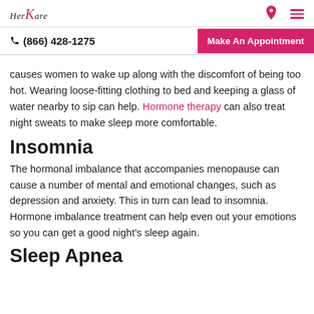HerKare logo with navigation icons
(866) 428-1275 | Make An Appointment
causes women to wake up along with the discomfort of being too hot. Wearing loose-fitting clothing to bed and keeping a glass of water nearby to sip can help. Hormone therapy can also treat night sweats to make sleep more comfortable.
Insomnia
The hormonal imbalance that accompanies menopause can cause a number of mental and emotional changes, such as depression and anxiety. This in turn can lead to insomnia. Hormone imbalance treatment can help even out your emotions so you can get a good night's sleep again.
Sleep Apnea